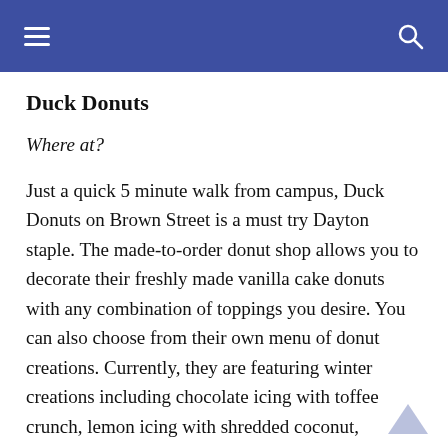≡  🔍
Duck Donuts
Where at?
Just a quick 5 minute walk from campus, Duck Donuts on Brown Street is a must try Dayton staple. The made-to-order donut shop allows you to decorate their freshly made vanilla cake donuts with any combination of toppings you desire. You can also choose from their own menu of donut creations. Currently, they are featuring winter creations including chocolate icing with toffee crunch, lemon icing with shredded coconut, strawberry icing with raspberry drizzle and maple